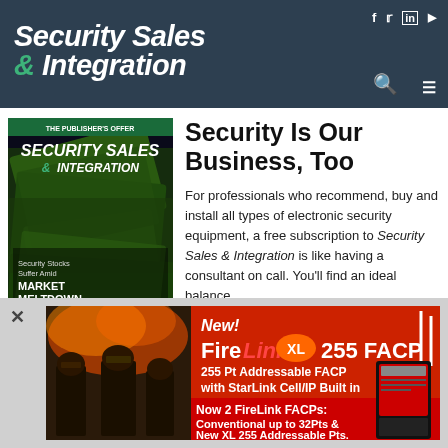Security Sales & Integration — website header with navigation icons (f, twitter, in, youtube), search, and menu
[Figure (screenshot): Magazine cover of Security Sales & Integration showing money/cash bills background with headline 'Security Stocks Suffer Amid MARKET MELTDOWN']
Security Is Our Business, Too
For professionals who recommend, buy and install all types of electronic security equipment, a free subscription to Security Sales & Integration is like having a consultant on call. You'll find an ideal balance
[Figure (photo): FireLink XL 255 FACP advertisement banner — New! FireLink XL 255 FACP, 255 Pt Addressable FACP with StarLink Cell/IP Built in. Now 2 FireLink FACPs: Conventional up to 32Pts & New XL 255 Addressable Pts. Shows firefighters and fire alarm control panels.]